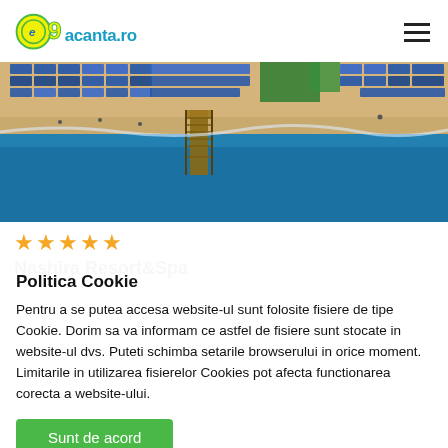vacanta.ro
[Figure (photo): Aerial view of a beach resort with blue umbrellas/sunbeds arranged in rows on sandy beach, with a pier extending into the blue sea, and lush green trees in the background.]
★★★★★
Nashira Resort&Spa
Politica Cookie
Pentru a se putea accesa website-ul sunt folosite fisiere de tipe Cookie. Dorim sa va informam ce astfel de fisiere sunt stocate in website-ul dvs. Puteti schimba setarile browserului in orice moment. Limitarile in utilizarea fisierelor Cookies pot afecta functionarea corecta a website-ului.
Sunt de acord